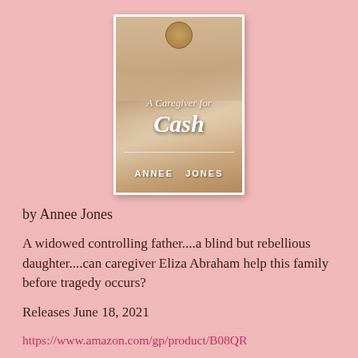[Figure (illustration): Book cover of 'A Caregiver for Cash' by Annee Jones, showing a woman in a period hat with the book title in decorative script and author name at bottom]
by Annee Jones
A widowed controlling father....a blind but rebellious daughter....can caregiver Eliza Abraham help this family before tragedy occurs?
Releases June 18, 2021
https://www.amazon.com/gp/product/B08QR